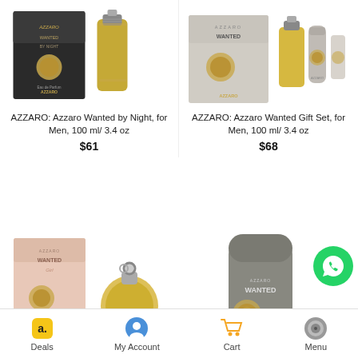[Figure (photo): Azzaro Wanted by Night perfume box and bottle for men]
AZZARO: Azzaro Wanted by Night, for Men, 100 ml/ 3.4 oz
$61
[Figure (photo): Azzaro Wanted Gift Set for men with box, bottle and lotion]
AZZARO: Azzaro Wanted Gift Set, for Men, 100 ml/ 3.4 oz
$68
[Figure (photo): Azzaro Wanted Girl perfume box and bottle]
[Figure (photo): Azzaro Wanted body lotion tube]
[Figure (logo): WhatsApp green chat button]
Deals  My Account  Cart  Menu